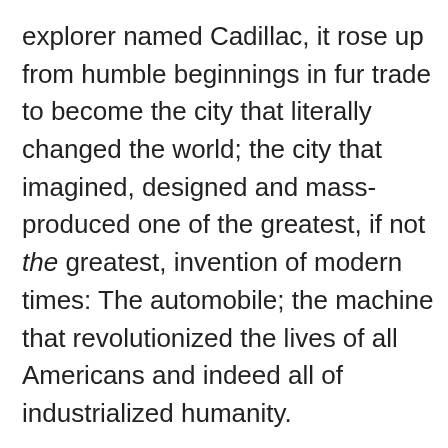explorer named Cadillac, it rose up from humble beginnings in fur trade to become the city that literally changed the world; the city that imagined, designed and mass-produced one of the greatest, if not the greatest, invention of modern times: The automobile; the machine that revolutionized the lives of all Americans and indeed all of industrialized humanity.
For over a hundred years, it survived the conflicts of labor, the scourge of racism, and political corruption that would make Chicago blush. Yet it persevered.